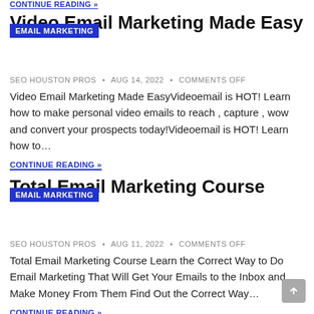CONTINUE READING »
Video Email Marketing Made Easy
SEO HOUSTON PROS • AUG 14, 2022 • COMMENTS OFF
Video Email Marketing Made EasyVideoemail is HOT! Learn how to make personal video emails to reach , capture , wow and convert your prospects today!Videoemail is HOT! Learn how to…
CONTINUE READING »
Total Email Marketing Course
SEO HOUSTON PROS • AUG 11, 2022 • COMMENTS OFF
Total Email Marketing Course Learn the Correct Way to Do Email Marketing That Will Get Your Emails to the Inbox and Make Money From Them Find Out the Correct Way…
CONTINUE READING »